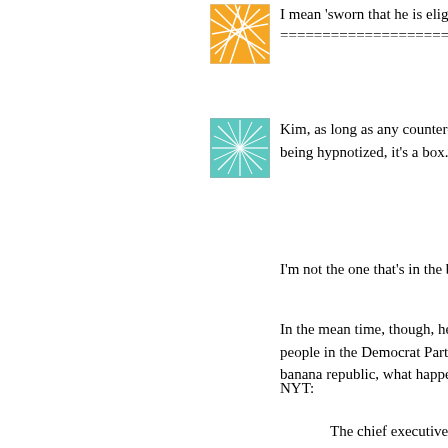[Figure (illustration): Orange avatar icon with abstract white line pattern]
I mean 'sworn that he is eligib
=======================
[Figure (illustration): Teal/cyan avatar icon with abstract white branching pattern]
Kim, as long as any counter-a being hypnotized, it's a box.
I'm not the one that's in the b
In the mean time, though, he' people in the Democrat Party banana republic, what happe
NYT:
The chief executive of employees a memoran have all done to try to to get this economy m set back if we lose our Congress imposes a s employees. It would a who will find it difficult, bonuses that they carr